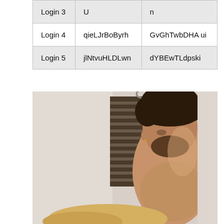| Login 3 | U | n |
| Login 4 | qieLJrBoByrh | GvGhTwbDHAui |
| Login 5 | jlNtvuHLDLwn | dYBEwTLdpski |
[Figure (photo): A shirtless young man with dark hair and beard, looking downward, photographed indoors near a window with blinds.]